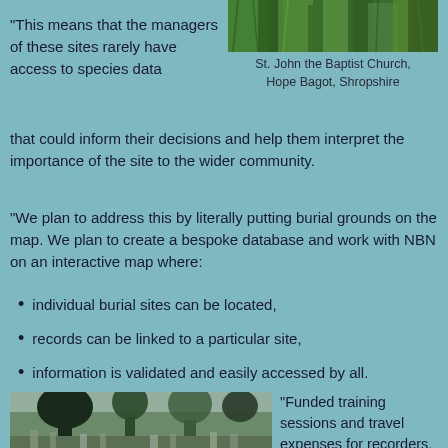[Figure (photo): Photo of green vegetation, likely crops or tall grass, at top right of page]
St. John the Baptist Church, Hope Bagot, Shropshire
"This means that the managers of these sites rarely have access to species data that could inform their decisions and help them interpret the importance of the site to the wider community.
"We plan to address this by literally putting burial grounds on the map. We plan to create a bespoke database and work with NBN on an interactive map where:
individual burial sites can be located,
records can be linked to a particular site,
information is validated and easily accessed by all.
[Figure (photo): Photo of a graveyard with large dark yew trees and gravestones]
"Funded training sessions and travel expenses for recorders, initiatives such as 'the Year of the